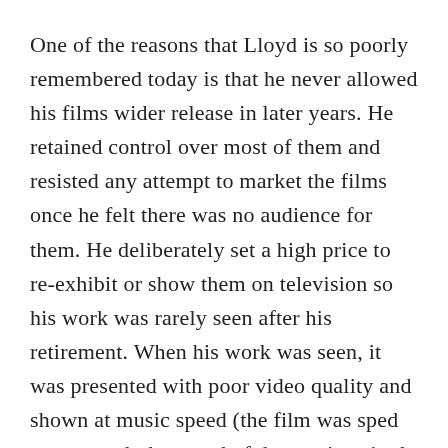One of the reasons that Lloyd is so poorly remembered today is that he never allowed his films wider release in later years. He retained control over most of them and resisted any attempt to market the films once he felt there was no audience for them. He deliberately set a high price to re-exhibit or show them on television so his work was rarely seen after his retirement. When his work was seen, it was presented with poor video quality and shown at music speed (the film was sped up to match the speed of the music paired with it). It wasn't until the late 90's that a renewed interest in Lloyd's films saw releases of better quality.